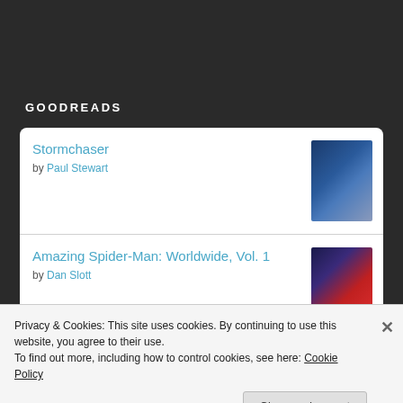GOODREADS
Stormchaser by Paul Stewart
Amazing Spider-Man: Worldwide, Vol. 1 by Dan Slott
Batman: Rebirth #1 by Tom King
Privacy & Cookies: This site uses cookies. By continuing to use this website, you agree to their use.
To find out more, including how to control cookies, see here: Cookie Policy
Close and accept